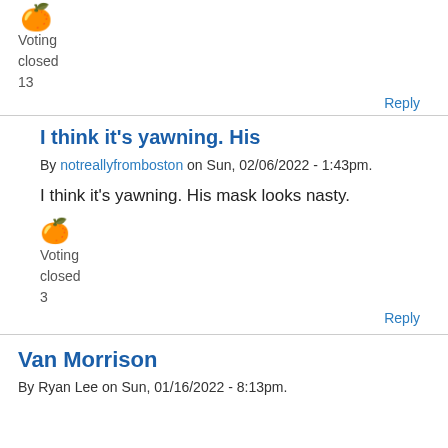[Figure (illustration): Orange thumbs-up emoji icon]
Voting
closed
13
Reply
I think it's yawning. His
By notreallyfromboston on Sun, 02/06/2022 - 1:43pm.
I think it's yawning. His mask looks nasty.
[Figure (illustration): Orange thumbs-up emoji icon]
Voting
closed
3
Reply
Van Morrison
By Ryan Lee on Sun, 01/16/2022 - 8:13pm.